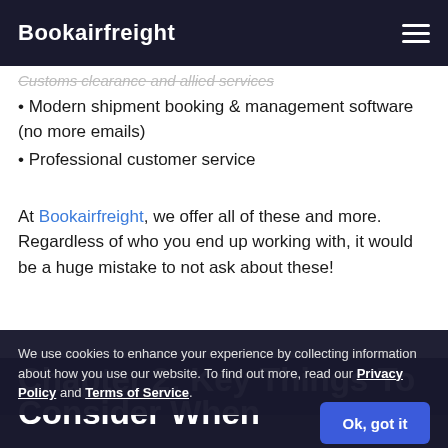Bookairfreight
• Modern shipment booking & management software (no more emails)
• Professional customer service
At Bookairfreight, we offer all of these and more. Regardless of who you end up working with, it would be a huge mistake to not ask about these!
We use cookies to enhance your experience by collecting information about how you use our website. To find out more, read our Privacy Policy and Terms of Service.
Chapter 2: Key Things To Consider When